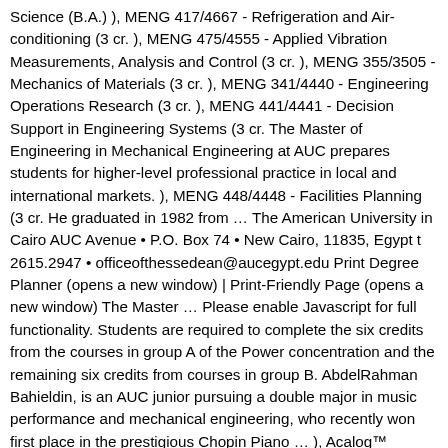Science (B.A.) ), MENG 417/4667 - Refrigeration and Air-conditioning (3 cr. ), MENG 475/4555 - Applied Vibration Measurements, Analysis and Control (3 cr. ), MENG 355/3505 - Mechanics of Materials (3 cr. ), MENG 341/4440 - Engineering Operations Research (3 cr. ), MENG 441/4441 - Decision Support in Engineering Systems (3 cr. The Master of Engineering in Mechanical Engineering at AUC prepares students for higher-level professional practice in local and international markets. ), MENG 448/4448 - Facilities Planning (3 cr. He graduated in 1982 from … The American University in Cairo AUC Avenue • P.O. Box 74 • New Cairo, 11835, Egypt t 2615.2947 • officeofthessedean@aucegypt.edu Print Degree Planner (opens a new window) | Print-Friendly Page (opens a new window) The Master … Please enable Javascript for full functionality. Students are required to complete the six credits from the courses in group A of the Power concentration and the remaining six credits from courses in group B. AbdelRahman Bahieldin, is an AUC junior pursuing a double major in music performance and mechanical engineering, who recently won first place in the prestigious Chopin Piano … ), Acalog™ Academic Catalog Management System™ (ACMS™). Area of … AUC mourns the loss of Farkhonda Hassan (MSc '67), professor emerita in the School of Sciences and Engineering. Located in Cairo, AUC is known for its